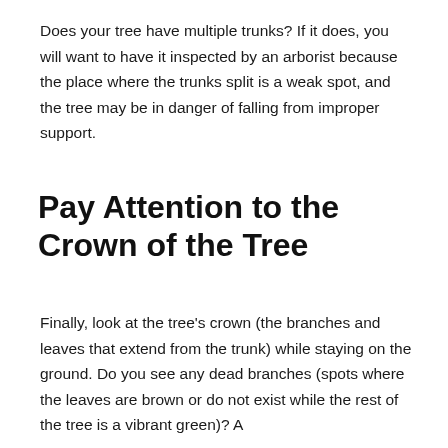Does your tree have multiple trunks? If it does, you will want to have it inspected by an arborist because the place where the trunks split is a weak spot, and the tree may be in danger of falling from improper support.
Pay Attention to the Crown of the Tree
Finally, look at the tree's crown (the branches and leaves that extend from the trunk) while staying on the ground. Do you see any dead branches (spots where the leaves are brown or do not exist while the rest of the tree is a vibrant green)? A